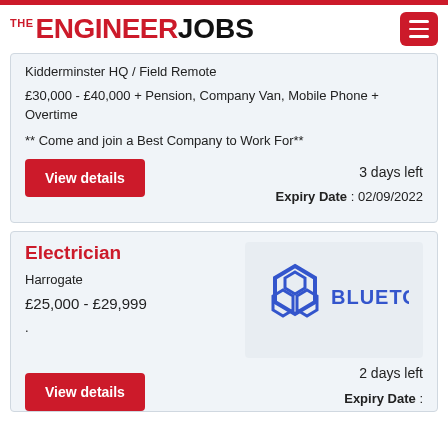THE ENGINEER JOBS
Kidderminster HQ / Field Remote
£30,000 - £40,000 + Pension, Company Van, Mobile Phone + Overtime
** Come and join a Best Company to Work For**
View details
3 days left
Expiry Date : 02/09/2022
Electrician
Harrogate
£25,000 - £29,999
.
[Figure (logo): Bluetown company logo with hexagon icon and BLUETOWN text in blue]
2 days left
Expiry Date :
View details